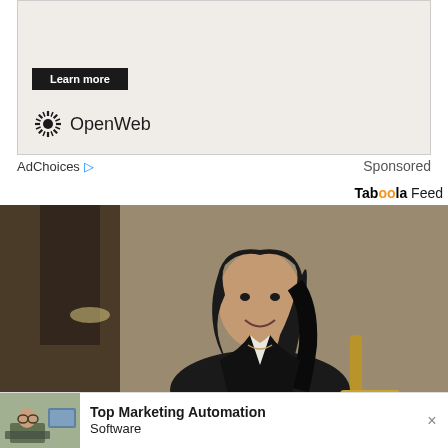[Figure (screenshot): Advertisement box with 'Learn more' button and OpenWeb logo on beige background]
AdChoices ▷    Sponsored
Taboola Feed
[Figure (photo): Professional woman with long dark hair wearing a black blazer, smiling, seated in an office/corporate environment]
The Most Famous Attorneys In Ashburn - See
[Figure (screenshot): Bottom ad thumbnail showing a person at a computer]
Top Marketing Automation Software